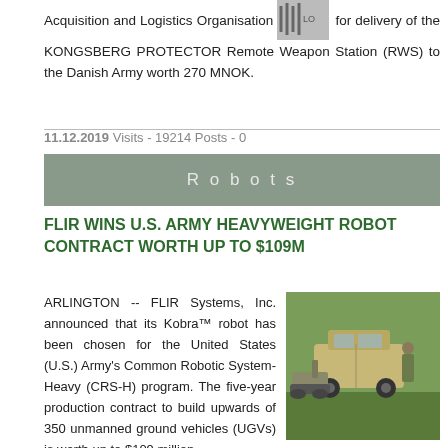Acquisition and Logistics Organisation ([logo]) for delivery of the KONGSBERG PROTECTOR Remote Weapon Station (RWS) to the Danish Army worth 270 MNOK.
11.12.2019 Visits - 19214 Posts - 0
Robots
FLIR WINS U.S. ARMY HEAVYWEIGHT ROBOT CONTRACT WORTH UP TO $109M
ARLINGTON -- FLIR Systems, Inc. announced that its Kobra™ robot has been chosen for the United States (U.S.) Army's Common Robotic System-Heavy (CRS-H) program. The five-year production contract to build upwards of 350 unmanned ground vehicles (UGVs) is worth up to $109 million.
[Figure (photo): Photo of a military robot (tracked unmanned ground vehicle) next to a tan SUV/truck on grass, with a soldier in the background.]